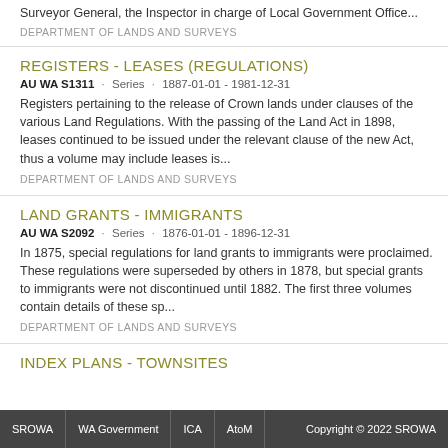Surveyor General, the Inspector in charge of Local Government Office...
DEPARTMENT OF LANDS AND SURVEYS
REGISTERS - LEASES (REGULATIONS)
AU WA S1311 · Series · 1887-01-01 - 1981-12-31
Registers pertaining to the release of Crown lands under clauses of the various Land Regulations. With the passing of the Land Act in 1898, leases continued to be issued under the relevant clause of the new Act, thus a volume may include leases is...
DEPARTMENT OF LANDS AND SURVEYS
LAND GRANTS - IMMIGRANTS
AU WA S2092 · Series · 1876-01-01 - 1896-12-31
In 1875, special regulations for land grants to immigrants were proclaimed. These regulations were superseded by others in 1878, but special grants to immigrants were not discontinued until 1882. The first three volumes contain details of these sp...
DEPARTMENT OF LANDS AND SURVEYS
INDEX PLANS - TOWNSITES
SROWA | WA Government | ICA | AtoM | Copyright © 2022 SROWA